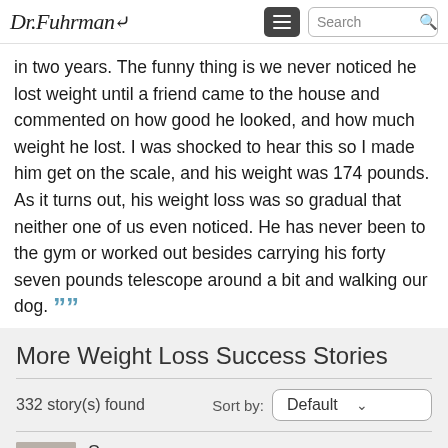Dr. Fuhrman
in two years. The funny thing is we never noticed he lost weight until a friend came to the house and commented on how good he looked, and how much weight he lost. I was shocked to hear this so I made him get on the scale, and his weight was 174 pounds. As it turns out, his weight loss was so gradual that neither one of us even noticed. He has never been to the gym or worked out besides carrying his forty seven pounds telescope around a bit and walking our dog. ””
More Weight Loss Success Stories
332 story(s) found
Sort by: Default
Susan
Susan's life was a "nightmare" before she